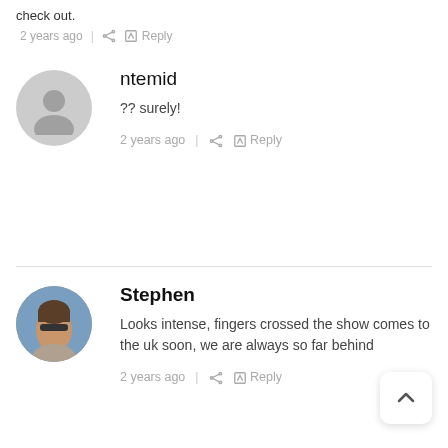check out.
2 years ago  |  Reply
ntemid
?? surely!
2 years ago  |  Reply
Stephen
Looks intense, fingers crossed the show comes to the uk soon, we are always so far behind
2 years ago  |  Reply